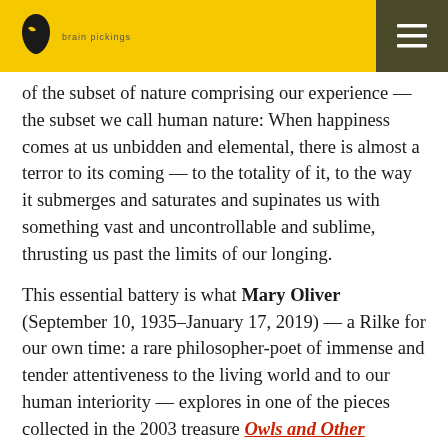Brain Pickings — navigation header
of the subset of nature comprising our experience — the subset we call human nature: When happiness comes at us unbidden and elemental, there is almost a terror to its coming — to the totality of it, to the way it submerges and saturates and supinates us with something vast and uncontrollable and sublime, thrusting us past the limits of our longing.
This essential battery is what Mary Oliver (September 10, 1935–January 17, 2019) — a Rilke for our own time: a rare philosopher-poet of immense and tender attentiveness to the living world and to our human interiority — explores in one of the pieces collected in the 2003 treasure Owls and Other Fantasies: Poems and Essays (public library).